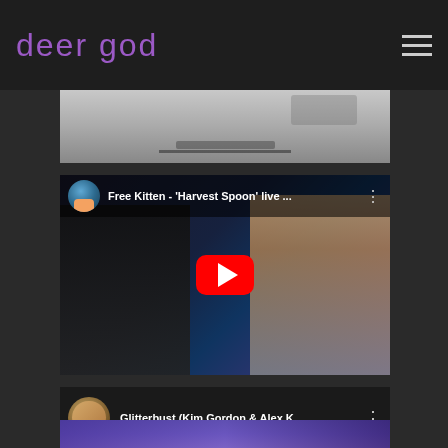deer god
[Figure (screenshot): Top image strip showing a partially visible image with debris/smoke on a light background]
[Figure (screenshot): YouTube video embed: Free Kitten - 'Harvest Spoon' live ... with red play button overlay, showing two musicians performing on stage]
[Figure (screenshot): YouTube video embed: Glitterbust (Kim Gordon & Alex K... with circular avatar thumbnail and three-dot menu]